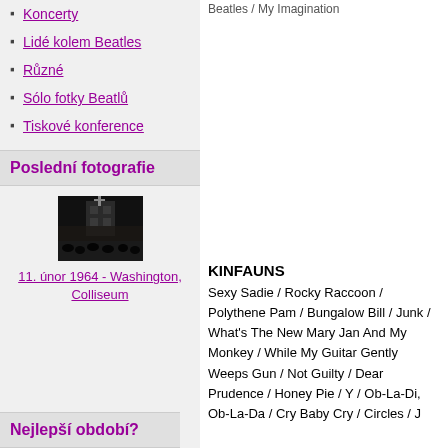Koncerty
Lidé kolem Beatles
Různé
Sólo fotky Beatlů
Tiskové konference
Poslední fotografie
[Figure (photo): Black and white photo of a concert venue at night, 11. únor 1964 - Washington, Colliseum]
11. únor 1964 - Washington, Colliseum
Nejlepší období?
Beatles / My Imagination
KINFAUNS
Sexy Sadie / Rocky Raccoon / Polythene Pam / Bungalow Bill / Junk / What's The New Mary Jane / And My Monkey / While My Guitar Gently Weeps / Gun / Not Guilty / Dear Prudence / Honey Pie / Y / Ob-La-Di, Ob-La-Da / Cry Baby Cry / Circles / J